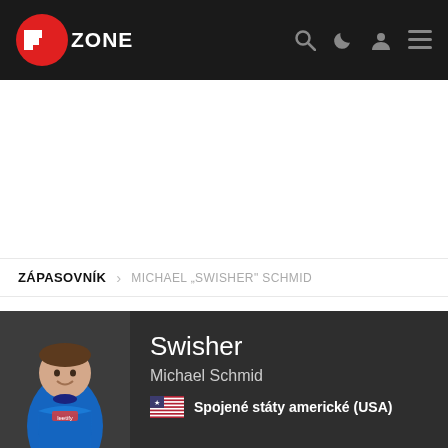PLAYZONE navigation bar with logo and icons
ZÁPASOVNÍK > MICHAEL „SWISHER" SCHMID
[Figure (photo): Player profile card showing Swisher (Michael Schmid) in a blue esports jersey with Leetify branding, smiling. Name: Swisher, Full name: Michael Schmid, Country: Spojené státy americké (USA), Age: 24]